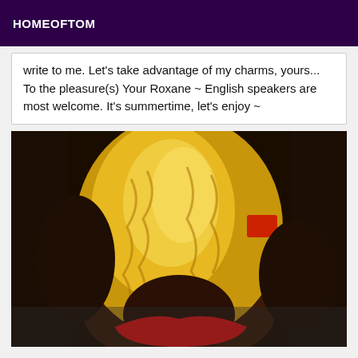HOMEOFTOM
write to me. Let's take advantage of my charms, yours... To the pleasure(s) Your Roxane ~ English speakers are most welcome. It's summertime, let's enjoy ~
[Figure (photo): Close-up photo of a person with blonde curly/wavy hair, viewed from behind, wearing a red swimsuit/bikini bottom. Dark-skinned individual with a red accessory or clip visible in the hair.]